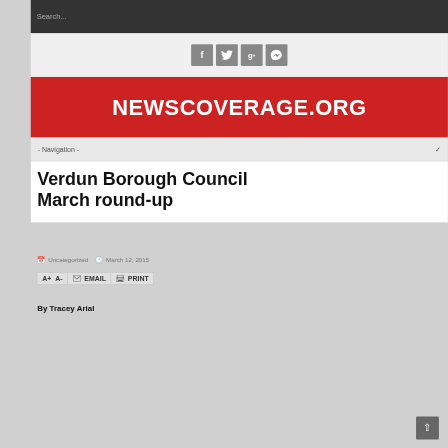Search...
[Figure (logo): Social media icons: Facebook, Twitter, Google+, Blogger]
NEWSCOVERAGE.ORG
- Navigation -
Verdun Borough Council March round-up
Uncategorized   March 12, 2015
A+  A-  EMAIL  PRINT
By Tracey Arial